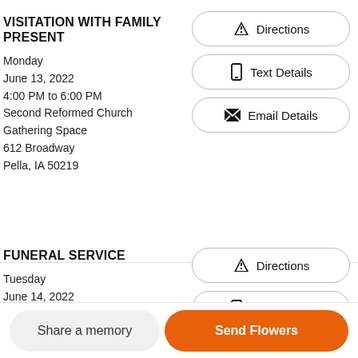VISITATION WITH FAMILY PRESENT
Monday
June 13, 2022
4:00 PM to 6:00 PM
Second Reformed Church
Gathering Space
612 Broadway
Pella, IA 50219
Directions
Text Details
Email Details
FUNERAL SERVICE
Tuesday
June 14, 2022
10:00 AM
Directions
Text Details
Share a memory
Send Flowers